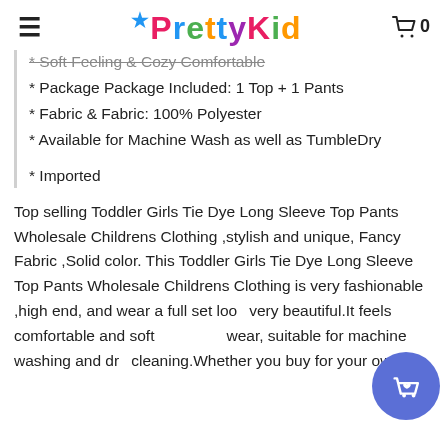PrettyKid
* Soft Feeling & Cozy Comfortable
* Package Package Included: 1 Top + 1 Pants
* Fabric & Fabric: 100% Polyester
* Available for Machine Wash as well as TumbleDry
* Imported
Top selling Toddler Girls Tie Dye Long Sleeve Top Pants Wholesale Childrens Clothing ,stylish and unique, Fancy Fabric ,Solid color. This Toddler Girls Tie Dye Long Sleeve Top Pants Wholesale Childrens Clothing is very fashionable ,high end, and wear a full set look very beautiful.It feels comfortable and soft to wear, suitable for machine washing and dry cleaning.Whether you buy for your own children as a gift, relatives and friends...